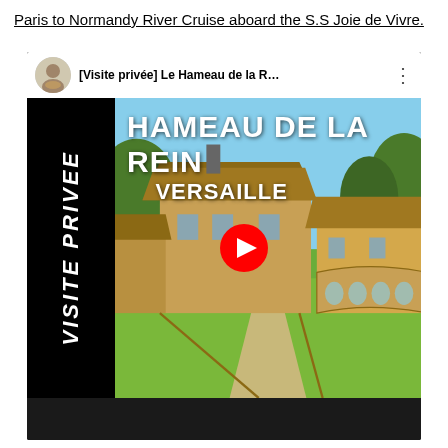Paris to Normandy River Cruise aboard the S.S Joie de Vivre.
[Figure (screenshot): Embedded YouTube video thumbnail showing 'Hameau de la Reine, Versailles' private visit (Visite Privée). Left sidebar reads 'VISITE PRIVEE' vertically in white on black. Main image shows a rustic French rural-style building complex (Hameau de la Reine at Versailles) with thatched roofs under a blue sky with green lawns. Text overlay says 'HAMEAU DE LA REIN' and 'VERSAILLE'. YouTube top bar shows channel avatar and title '[Visite privée] Le Hameau de la R...' with three-dot menu. Red circular play button centered on image. Bottom black bar.]